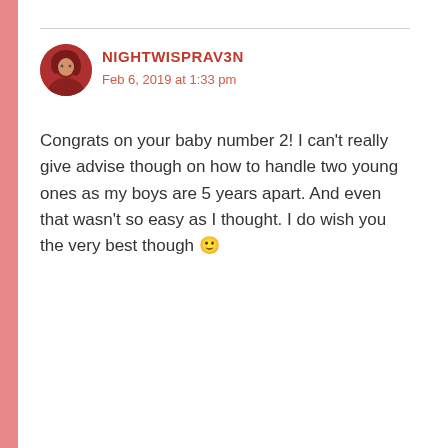NIGHTWISPRAV3N
Feb 6, 2019 at 1:33 pm
Congrats on your baby number 2! I can't really give advise though on how to handle two young ones as my boys are 5 years apart. And even that wasn't so easy as I thought. I do wish you the very best though 🙂
★ Liked by 1 person
Reply
Advertisements
[Figure (screenshot): DuckDuckGo advertisement banner with orange background showing phone mockup. Text: 'Search, browse, and email with more privacy. All in One Free App' with DuckDuckGo logo.]